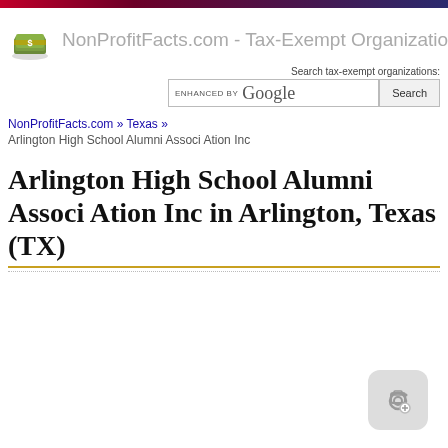NonProfitFacts.com - Tax-Exempt Organizations
Search tax-exempt organizations:
ENHANCED BY Google   Search
NonProfitFacts.com » Texas »
Arlington High School Alumni Associ Ation Inc
Arlington High School Alumni Associ Ation Inc in Arlington, Texas (TX)